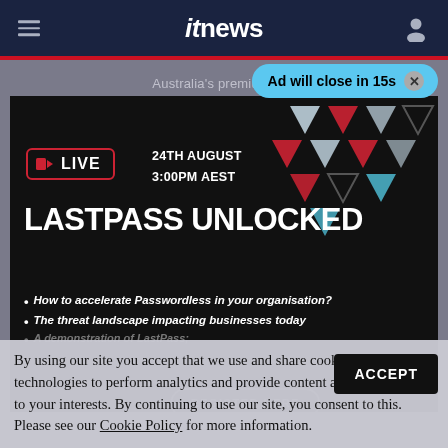itnews
[Figure (screenshot): Advertisement overlay for LastPass Unlocked webinar on black background with geometric triangle decorations. Shows LIVE badge, date 24TH AUGUST 3:00PM AEST, main title LASTPASS UNLOCKED, and bullet points: How to accelerate Passwordless in your organisation?, The threat landscape impacting businesses today, A demonstration of LastPass.]
Ad will close in 15s
By using our site you accept that we use and share cookies and similar technologies to perform analytics and provide content and ads tailored to your interests. By continuing to use our site, you consent to this. Please see our Cookie Policy for more information.